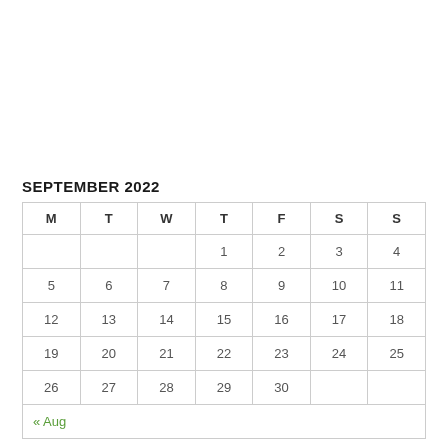SEPTEMBER 2022
| M | T | W | T | F | S | S |
| --- | --- | --- | --- | --- | --- | --- |
|  |  |  | 1 | 2 | 3 | 4 |
| 5 | 6 | 7 | 8 | 9 | 10 | 11 |
| 12 | 13 | 14 | 15 | 16 | 17 | 18 |
| 19 | 20 | 21 | 22 | 23 | 24 | 25 |
| 26 | 27 | 28 | 29 | 30 |  |  |
| « Aug |  |  |  |  |  |  |